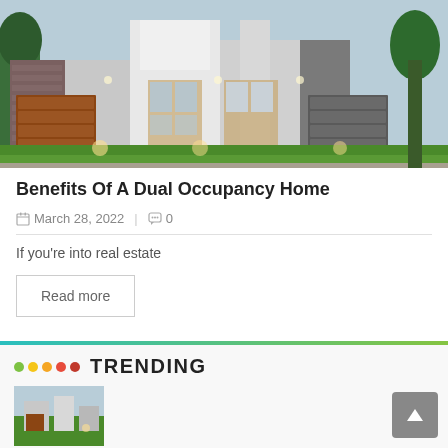[Figure (photo): Modern dual occupancy home exterior with brick facade, timber garage doors, glass entry panels, and landscaped front lawn at dusk]
Benefits Of A Dual Occupancy Home
March 28, 2022  |  0
If you're into real estate
Read more
TRENDING